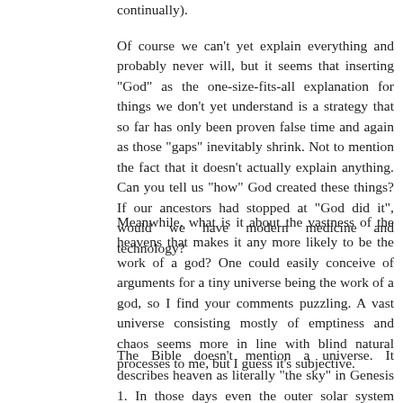continually).
Of course we can't yet explain everything and probably never will, but it seems that inserting "God" as the one-size-fits-all explanation for things we don't yet understand is a strategy that so far has only been proven false time and again as those "gaps" inevitably shrink. Not to mention the fact that it doesn't actually explain anything. Can you tell us "how" God created these things? If our ancestors had stopped at "God did it", would we have modern medicine and technology?
Meanwhile, what is it about the vastness of the heavens that makes it any more likely to be the work of a god? One could easily conceive of arguments for a tiny universe being the work of a god, so I find your comments puzzling. A vast universe consisting mostly of emptiness and chaos seems more in line with blind natural processes to me, but I guess it's subjective.
The Bible doesn't mention a universe. It describes heaven as literally "the sky" in Genesis 1. In those days even the outer solar system wasn't known, much less the galaxy.